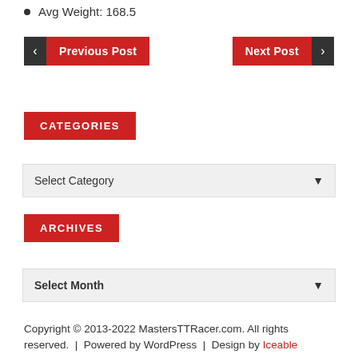Avg Weight: 168.5
[Figure (screenshot): Navigation buttons: Previous Post (left) and Next Post (right) with red background and dark arrow buttons]
CATEGORIES
[Figure (screenshot): Select Category dropdown]
ARCHIVES
[Figure (screenshot): Select Month dropdown]
Copyright © 2013-2022 MastersTTRacer.com. All rights reserved.  |  Powered by WordPress  |  Design by Iceable